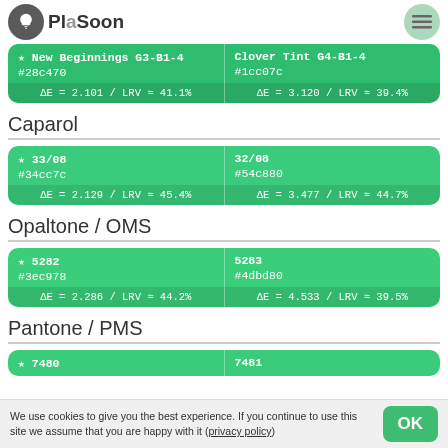PlaSoon
★ New Beginnings G3-B1-4 | #28c470 | ΔE = 2.101 / LRV ≈ 41.1% | Clover Tint G4-B1-4 | #1cc07c | ΔE = 3.120 / LRV ≈ 39.4%
Caparol
★ 33/08 | #34cc7c | ΔE = 2.129 / LRV ≈ 45.4% | 32/08 | #54c880 | ΔE = 3.477 / LRV ≈ 44.7%
Opaltone / OMS
★ 5282 | #3ec978 | ΔE = 2.286 / LRV ≈ 44.2% | 5283 | #4dbd80 | ΔE = 4.533 / LRV ≈ 39.5%
Pantone / PMS
★ 7480 | 7481
We use cookies to give you the best experience. If you continue to use this site we assume that you are happy with it (privacy policy)